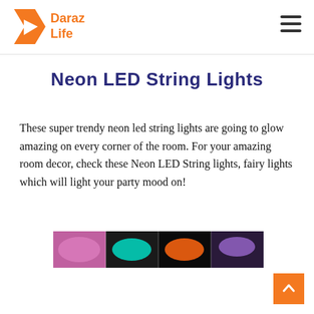Daraz Life
Neon LED String Lights
These super trendy neon led string lights are going to glow amazing on every corner of the room. For your amazing room decor, check these Neon LED String lights, fairy lights which will light your party mood on!
[Figure (photo): Collage of neon LED string lights in pink, teal, orange, and purple colors coiled up]